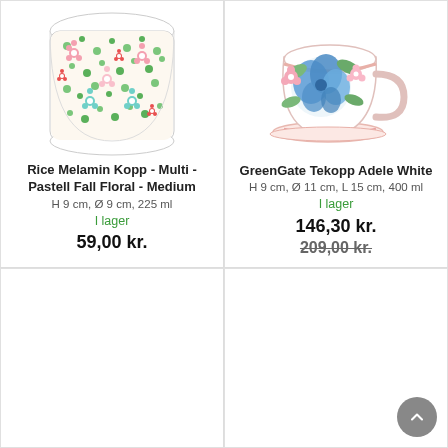[Figure (photo): Melamine cup with colorful small floral pattern in pink, green, teal and red on white background]
Rice Melamin Kopp - Multi - Pastell Fall Floral - Medium
H 9 cm, Ø 9 cm, 225 ml
I lager
59,00 kr.
[Figure (photo): White ceramic teacup with blue and pink floral pattern and pink rim, with handle]
GreenGate Tekopp Adele White
H 9 cm, Ø 11 cm, L 15 cm, 400 ml
I lager
146,30 kr.
209,00 kr.
[Figure (photo): Empty bottom-left product cell]
[Figure (photo): Empty bottom-right product cell with back-to-top button]